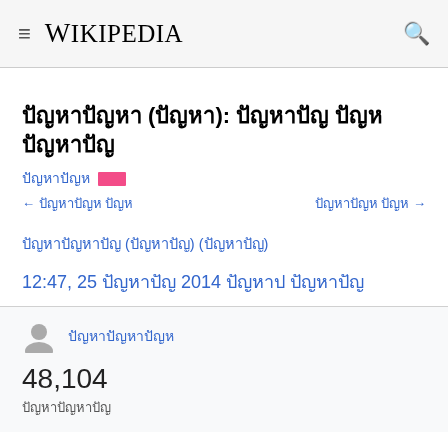Wikipedia
ปัญหาปัญหา (ปัญหา): ปัญหา ปัญ ปัญหา
ปัญหาปัญ ██
← ปัญหาปัญ ปัญ    ปัญหาปัญ ปัญ →
ปัญหาปัญหาปัญ (ปัญหาปัญ) (ปัญหาปัญ)
12:47, 25 ปัญหาปัญ 2014 ปัญปัญ ปัญหาปัญ
ปัญหาปัญหาปัญหา
48,104
ปัญหาปัญหาปัญ